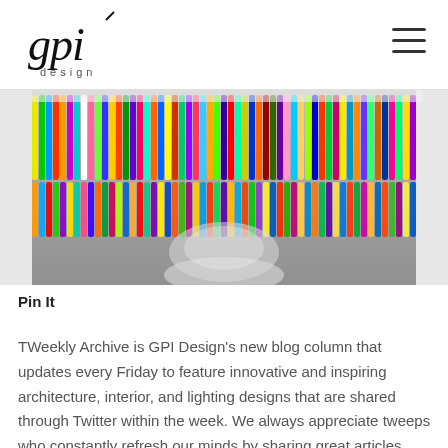gpi design
[Figure (photo): Colorful markers/pens arranged in rows on a circular lamp shade, photographed from below against a grey background]
Pin It
TWeekly Archive is GPI Design's new blog column that updates every Friday to feature innovative and inspiring architecture, interior, and lighting designs that are shared through Twitter within the week. We always appreciate tweeps who constantly refresh our minds by sharing great articles, pictures, and videos. If you have